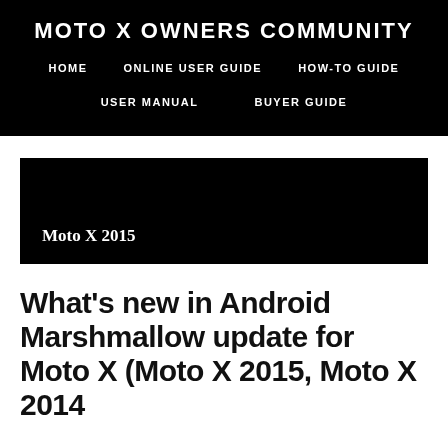MOTO X OWNERS COMMUNITY
HOME   ONLINE USER GUIDE   HOW-TO GUIDE   USER MANUAL   BUYER GUIDE
[Figure (other): Black banner image with text 'Moto X 2015']
What's new in Android Marshmallow update for Moto X (Moto X 2015, Moto X 2014)